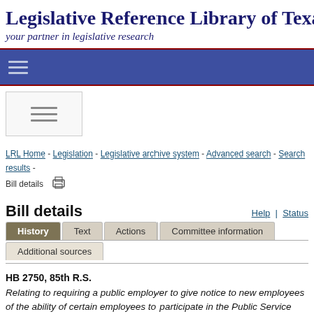Legislative Reference Library of Texas
your partner in legislative research
[Figure (other): Blue navigation bar with hamburger menu icon]
[Figure (other): White box with hamburger menu icon]
LRL Home - Legislation - Legislative archive system - Advanced search - Search results - Bill details [print icon]
Bill details
Help | Status
History | Text | Actions | Committee information | Additional sources
HB 2750, 85th R.S.
Relating to requiring a public employer to give notice to new employees of the ability of certain employees to participate in the Public Service Loan Forgiveness Program.